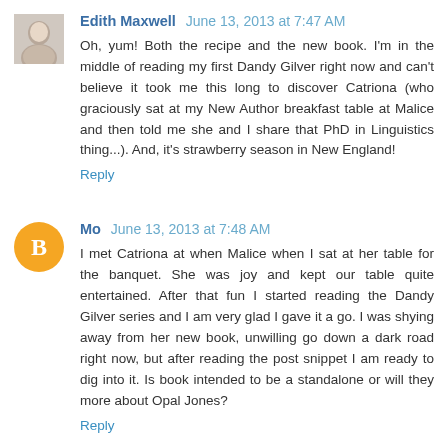Edith Maxwell June 13, 2013 at 7:47 AM
Oh, yum! Both the recipe and the new book. I'm in the middle of reading my first Dandy Gilver right now and can't believe it took me this long to discover Catriona (who graciously sat at my New Author breakfast table at Malice and then told me she and I share that PhD in Linguistics thing...). And, it's strawberry season in New England!
Reply
Mo June 13, 2013 at 7:48 AM
I met Catriona at when Malice when I sat at her table for the banquet. She was joy and kept our table quite entertained. After that fun I started reading the Dandy Gilver series and I am very glad I gave it a go. I was shying away from her new book, unwilling go down a dark road right now, but after reading the post snippet I am ready to dig into it. Is book intended to be a standalone or will they more about Opal Jones?
Reply